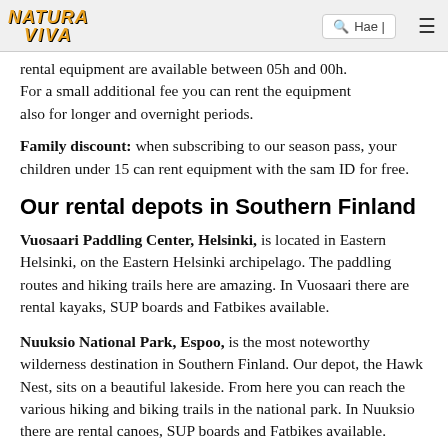NATURA VIVA | Hae | menu
rental equipment are available between 05h and 00h. For a small additional fee you can rent the equipment also for longer and overnight periods.
Family discount: when subscribing to our season pass, your children under 15 can rent equipment with the sam ID for free.
Our rental depots in Southern Finland
Vuosaari Paddling Center, Helsinki, is located in Eastern Helsinki, on the Eastern Helsinki archipelago. The paddling routes and hiking trails here are amazing. In Vuosaari there are rental kayaks, SUP boards and Fatbikes available.
Nuuksio National Park, Espoo, is the most noteworthy wilderness destination in Southern Finland. Our depot, the Hawk Nest, sits on a beautiful lakeside. From here you can reach the various hiking and biking trails in the national park. In Nuuksio there are rental canoes, SUP boards and Fatbikes available.